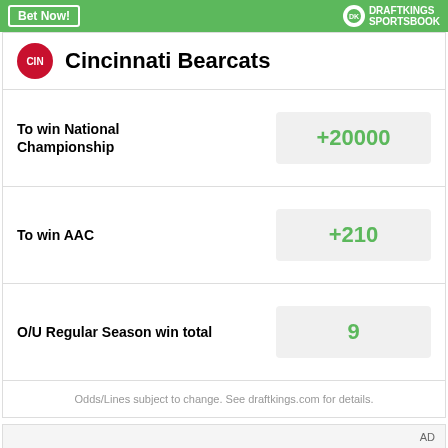Bet Now! DRAFTKINGS SPORTSBOOK
Cincinnati Bearcats
| Bet Type | Odds |
| --- | --- |
| To win National Championship | +20000 |
| To win AAC | +210 |
| O/U Regular Season win total | 9 |
Odds/Lines subject to change. See draftkings.com for details.
[Figure (other): Advertisement placeholder area with dark background image below]